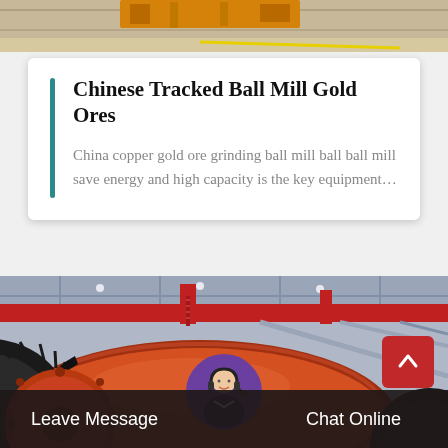[Figure (photo): Partial view of industrial/mining machinery, top of page strip]
Chinese Tracked Ball Mill Gold Ores
China copper gold ore grinding ball mill ball ball mill save energy and high capacity is the key equipment…
[Figure (photo): Large red industrial ball mill machinery inside a factory/warehouse, viewed from a low angle showing gears and drum]
Leave Message   Chat Online